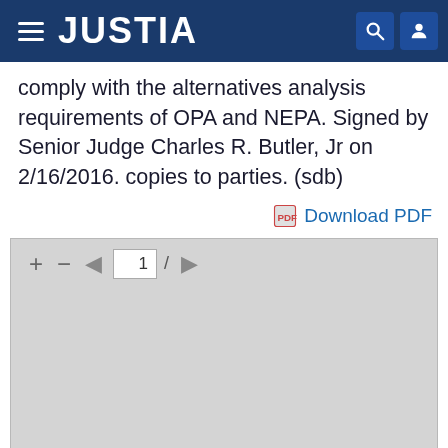JUSTIA
comply with the alternatives analysis requirements of OPA and NEPA. Signed by Senior Judge Charles R. Butler, Jr on 2/16/2016. copies to parties. (sdb)
Download PDF
[Figure (screenshot): PDF viewer embed showing page navigation toolbar with +, -, back arrow, page number input showing '1', forward slash, and forward arrow. Gray empty PDF viewing area below.]